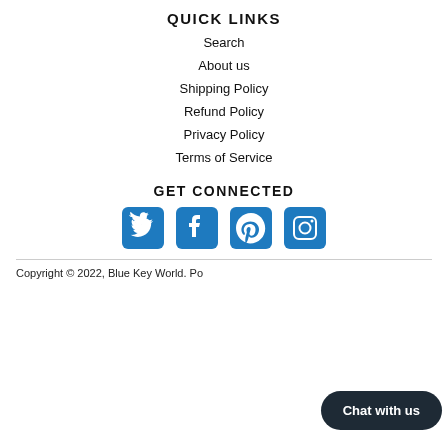QUICK LINKS
Search
About us
Shipping Policy
Refund Policy
Privacy Policy
Terms of Service
GET CONNECTED
[Figure (illustration): Four social media icons: Twitter (bird), Facebook (f), Pinterest (p), Instagram (camera)]
Copyright © 2022, Blue Key World. Po...
Chat with us